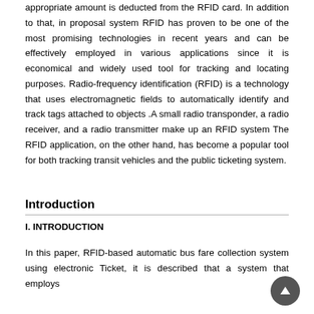appropriate amount is deducted from the RFID card. In addition to that, in proposal system RFID has proven to be one of the most promising technologies in recent years and can be effectively employed in various applications since it is economical and widely used tool for tracking and locating purposes. Radio-frequency identification (RFID) is a technology that uses electromagnetic fields to automatically identify and track tags attached to objects .A small radio transponder, a radio receiver, and a radio transmitter make up an RFID system The RFID application, on the other hand, has become a popular tool for both tracking transit vehicles and the public ticketing system.
Introduction
I. INTRODUCTION
In this paper, RFID-based automatic bus fare collection system using electronic Ticket, it is described that a system that employs